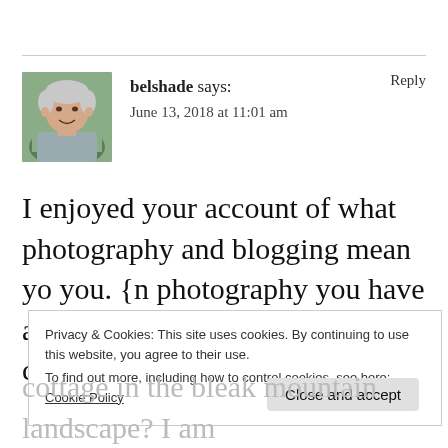[Figure (photo): Avatar photo of user 'belshade' — older man with white/grey hair, smiling, wearing a grey shirt, outdoors background]
belshade says:
June 13, 2018 at 11:01 am
Reply
I enjoyed your account of what photography and blogging mean yo you. {n photography you have a long-lasting interest – in my case
Privacy & Cookies: This site uses cookies. By continuing to use this website, you agree to their use.
To find out more, including how to control cookies, see here: Cookie Policy
Close and accept
cottage in the bleak mountain landscape? I am